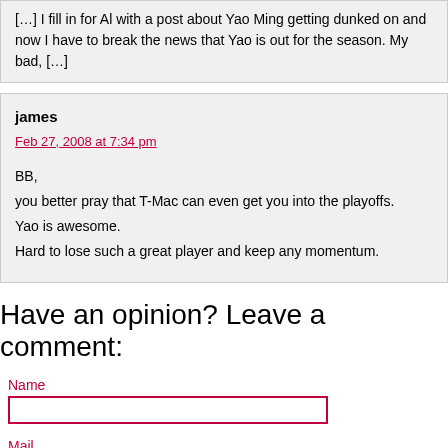[…] I fill in for Al with a post about Yao Ming getting dunked on and now I have to break the news that Yao is out for the season. My bad, […]
james
Feb 27, 2008 at 7:34 pm

BB,
you better pray that T-Mac can even get you into the playoffs.
Yao is awesome.
Hard to lose such a great player and keep any momentum.
Have an opinion? Leave a comment:
Name
Mail
Website